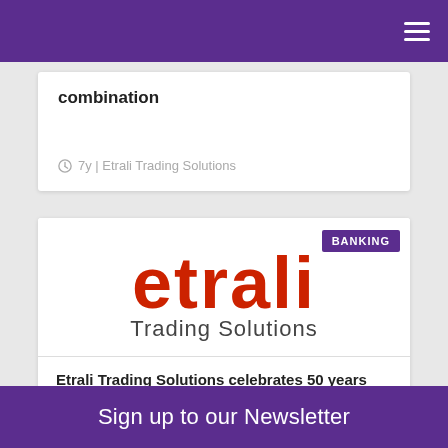combination
7y | Etrali Trading Solutions
[Figure (logo): Etrali Trading Solutions logo — 'etrali' in red with 'Trading Solutions' in dark grey below, with a purple 'BANKING' badge in the top right corner]
Etrali Trading Solutions celebrates 50 years
Sign up to our Newsletter